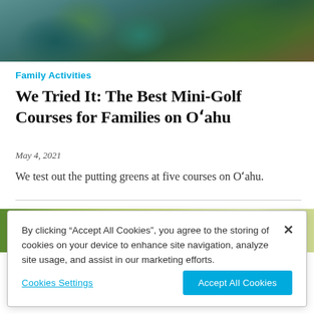[Figure (photo): Top hero image showing rocks and tropical greenery near water with teal/green tones]
Family Activities
We Tried It: The Best Mini-Golf Courses for Families on Oʿahu
May 4, 2021
We test out the putting greens at five courses on Oʿahu.
[Figure (photo): Partial image of what appears to be food on a plate with green tones]
By clicking “Accept All Cookies”, you agree to the storing of cookies on your device to enhance site navigation, analyze site usage, and assist in our marketing efforts.
Cookies Settings
Accept All Cookies